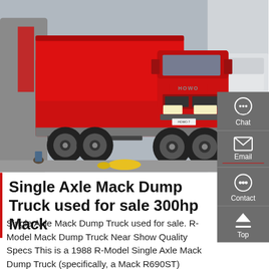[Figure (photo): A red HOWO dump truck parked in a lot, with a white truck visible on the right side. Several people and objects visible in the background.]
Single Axle Mack Dump Truck used for sale 300hp Mack
Single Axle Mack Dump Truck used for sale. R-Model Mack Dump Truck Near Show Quality Specs This is a 1988 R-Model Single Axle Mack Dump Truck (specifically, a Mack R690ST) powered by a 300 HP E6 Mack engine backed by a 7-speed Mack trans with 194,953 miles. It includes a Jake brake, plus air and